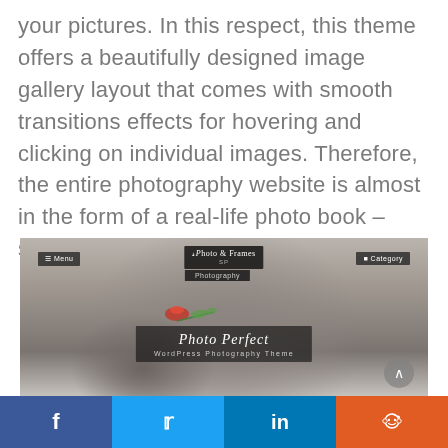your pictures. In this respect, this theme offers a beautifully designed image gallery layout that comes with smooth transitions effects for hovering and clicking on individual images. Therefore, the entire photography website is almost in the form of a real-life photo book – simple but creative!
[Figure (screenshot): Screenshot of a WordPress photography theme called 'Photo Perfect' showing a woman lying down holding a rose, with Menu and Category navigation bars, logo, and Photography label. A back-to-top arrow button is visible.]
[Figure (infographic): Social sharing bar with four buttons: Facebook (blue), Twitter (light blue), LinkedIn (dark blue), Reddit (orange)]